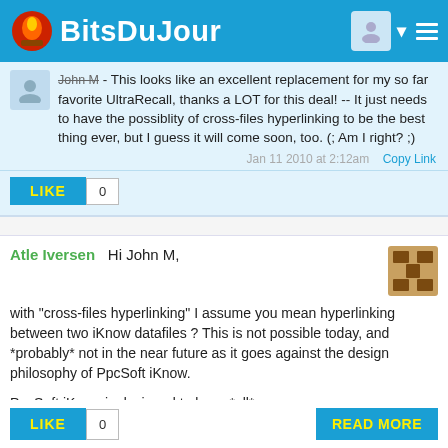Bits Du Jour
John M - This looks like an excellent replacement for my so far favorite UltraRecall, thanks a LOT for this deal! -- It just needs to have the possiblity of cross-files hyperlinking to be the best thing ever, but I guess it will come soon, too. (; Am I right? ;)
Jan 11 2010 at 2:12am   Copy Link
LIKE  0
Atle Iversen  Hi John M,

with "cross-files hyperlinking" I assume you mean hyperlinking between two iKnow datafiles ? This is not possible today, and *probably* not in the near future as it goes against the design philosophy of PpcSoft iKnow.

PpcSoft iKnow is designed to keep *all* your
PpcSoft - Jan 11 2010 at 3:24am   Copy Link
LIKE  0
READ MORE